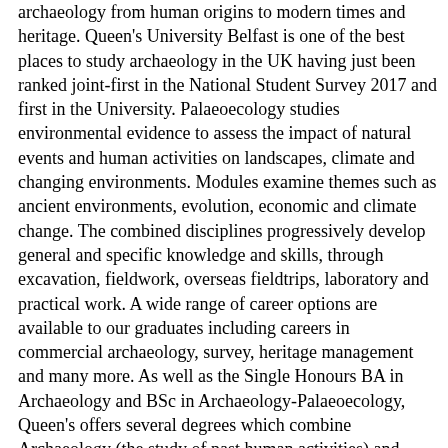archaeology from human origins to modern times and heritage. Queen's University Belfast is one of the best places to study archaeology in the UK having just been ranked joint-first in the National Student Survey 2017 and first in the University. Palaeoecology studies environmental evidence to assess the impact of natural events and human activities on landscapes, climate and changing environments. Modules examine themes such as ancient environments, evolution, economic and climate change. The combined disciplines progressively develop general and specific knowledge and skills, through excavation, fieldwork, overseas fieldtrips, laboratory and practical work. A wide range of career options are available to our graduates including careers in commercial archaeology, survey, heritage management and many more. As well as the Single Honours BA in Archaeology and BSc in Archaeology-Palaeoecology, Queen's offers several degrees which combine Archaeology (the study of past human activities) and Palaeoecology (the study of past environments) with other subjects (Languages, Geography and History).","entryYear": "Academic Year 2018/19","entryMonth": "September","School": "Natural and Built Environment","Attendance": "UNKNOWN","Metadata": "","courseURL": "/home/courses/undergraduate/archaeology-ba-v402/","HTMLResult": "Archaeology | BA 3 yearsV402Go to Course","yearOut": "Not Available","alevelEntry": ""}, {"contentID": "12222181","courseSubject": "Structural